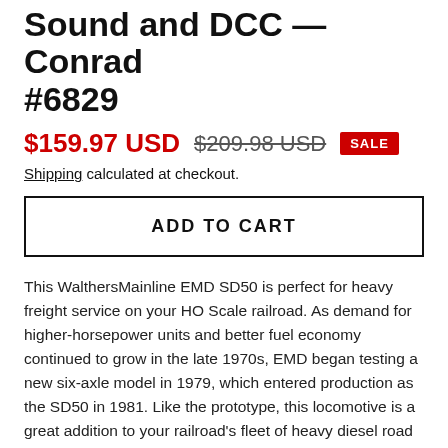Sound and DCC — Conrad #6829
$159.97 USD  $209.98 USD  SALE
Shipping calculated at checkout.
ADD TO CART
This WalthersMainline EMD SD50 is perfect for heavy freight service on your HO Scale railroad. As demand for higher-horsepower units and better fuel economy continued to grow in the late 1970s, EMD began testing a new six-axle model in 1979, which entered production as the SD50 in 1981. Like the prototype, this locomotive is a great addition to your railroad's fleet of heavy diesel road units. The WalthersMainline SD50